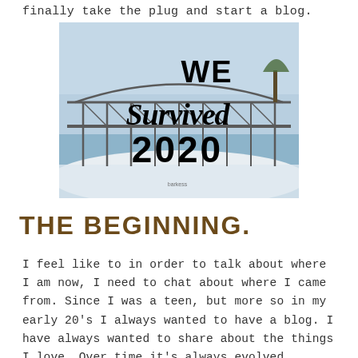finally take the plug and start a blog.
[Figure (photo): A photo of a bridge over a river in winter with snow on the ground and text overlay reading 'WE Survived 2020' in large black script/bold lettering, with a small watermark at the bottom.]
THE BEGINNING.
I feel like to in order to talk about where I am now, I need to chat about where I came from. Since I was a teen, but more so in my early 20's I always wanted to have a blog. I have always wanted to share about the things I love. Over time it's always evolved.